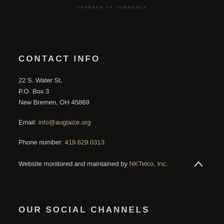CHAMBER OF COMMERCE
CONTACT INFO
22 S. Water St.
P.O. Box 3
New Bremen, OH 45869
Email: info@auglaize.org
Phone number: 419.629.0313
Website monitored and maintained by NKTelco, Inc.
OUR SOCIAL CHANNELS